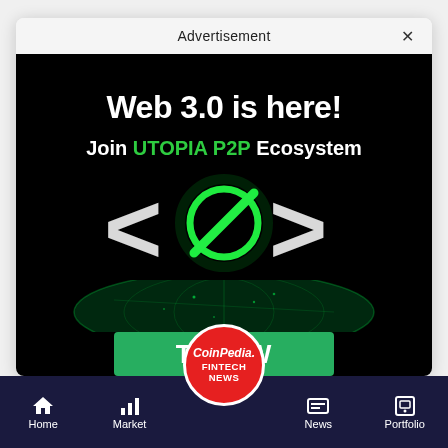Advertisement ×
[Figure (illustration): Advertisement banner for Utopia P2P ecosystem. Black background with text 'Web 3.0 is here!' and 'Join UTOPIA P2P Ecosystem', a green glowing logo (angle brackets with circle and diagonal line), a globe graphic, and a green 'TRY NOW' button at the bottom.]
Home  Market  News  Portfolio